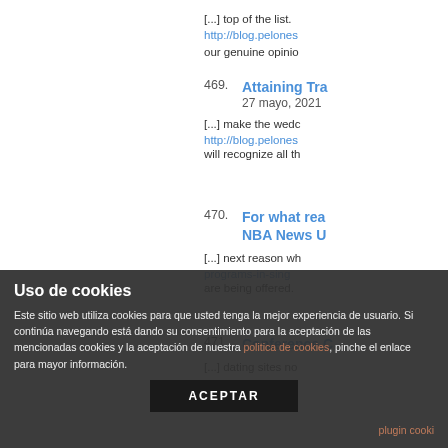[...] top of the list.
http://blog.pelones
our genuine opinio
469. Attaining Tra
27 mayo, 2021
[...] make the wedd
http://blog.pelones
will recognize all th
470. For what rea
NBA News U
[...] next reason wh
programs-in-sing
are being offered.
471. Conference C
[...] dating sites no
Uso de cookies
Este sitio web utiliza cookies para que usted tenga la mejor experiencia de usuario. Si continúa navegando está dando su consentimiento para la aceptación de las mencionadas cookies y la aceptación de nuestra politica de cookies, pinche el enlace para mayor información.
ACEPTAR
plugin cooki